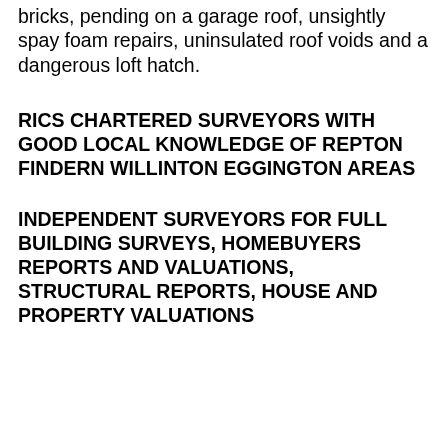bricks, pending on a garage roof, unsightly spay foam repairs, uninsulated roof voids and a dangerous loft hatch.
RICS CHARTERED SURVEYORS WITH GOOD LOCAL KNOWLEDGE OF REPTON FINDERN WILLINTON EGGINGTON AREAS
INDEPENDENT SURVEYORS FOR FULL BUILDING SURVEYS, HOMEBUYERS REPORTS AND VALUATIONS, STRUCTURAL REPORTS, HOUSE AND PROPERTY VALUATIONS